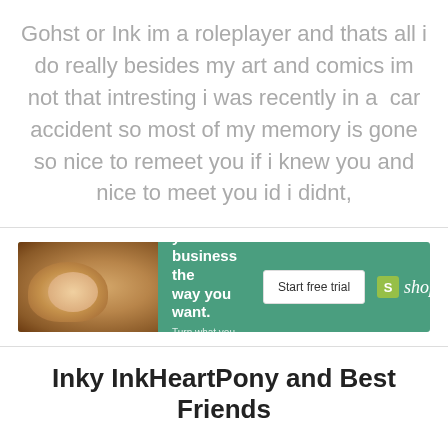Gohst or Ink im a roleplayer and thats all i do really besides my art and comics im not that intresting i was recently in a  car accident so most of my memory is gone so nice to remeet you if i knew you and nice to meet you id i didnt,
[Figure (other): Shopify advertisement banner with pottery/clay wheel image on left, green background with text 'Craft your business the way you want. Turn what you love into what you sell.' with 'Start free trial' button and Shopify logo.]
Inky InkHeartPony and Best Friends